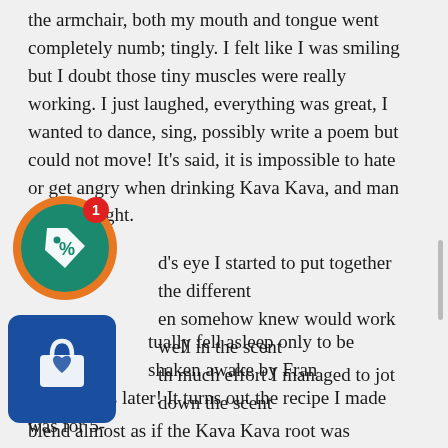the armchair, both my mouth and tongue went completely numb; tingly. I felt like I was smiling but I doubt those tiny muscles were really working. I just laughed, everything was great, I wanted to dance, sing, possibly write a poem but could not move! It's said, it is impossible to hate or get angry when drinking Kava Kava, and man are they right.
[Figure (illustration): A circular discount badge icon with a teal/green background, orange border ring, white tag icon with a percent symbol, and a red notification circle with the number 1 at the top right.]
d's eye I started to put together the different en somehow knew would work well in the scent th much effort I managed to jot down the scent blend almost as if the Kava Kava root was dictating it to me. In recollection, it sounds kind of far out or silly, but at the time this was a very serious matter...well, kinda serious, there was that perma-smile on my face, real or imagined.
[Figure (illustration): A rounded square blue shopping bag icon with a white shopping bag graphic that has a heart on it.]
tually fell asleep only to be shaken awake by Fran many hours later! It turns out the recipe I made was for 5-